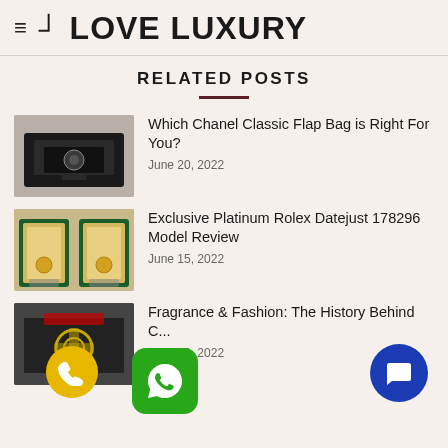4 LOVE LUXURY
RELATED POSTS
[Figure (photo): Black Chanel Classic Flap Bag thumbnail]
Which Chanel Classic Flap Bag is Right For You?
June 20, 2022
[Figure (photo): Rolex Datejust box being held open thumbnail]
Exclusive Platinum Rolex Datejust 178296 Model Review
June 15, 2022
[Figure (photo): Chanel store exterior thumbnail]
Fragrance & Fashion: The History Behind...
June 10, 2022